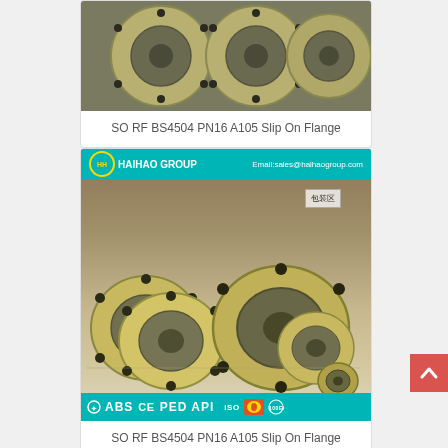[Figure (photo): SO RF BS4504 PN16 A105 Slip On Flange product photo with certification bar (ABS CE PED API ISO CNPC) at bottom, top portion of card visible]
SO RF BS4504 PN16 A105 Slip On Flange
[Figure (photo): SO RF BS4504 PN16 A105 Slip On Flange product photo showing multiple flanges stacked in a warehouse with Haihao Group branding bar at top and certification bar (ABS CE PED API ISO CNPC) at bottom]
SO RF BS4504 PN16 A105 Slip On Flange